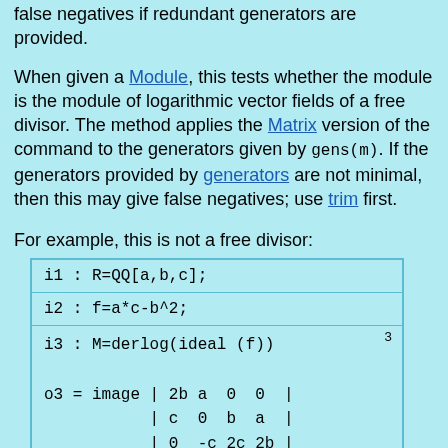false negatives if redundant generators are provided.
When given a Module, this tests whether the module is the module of logarithmic vector fields of a free divisor. The method applies the Matrix version of the command to the generators given by gens(m). If the generators provided by generators are not minimal, then this may give false negatives; use trim first.
For example, this is not a free divisor:
| i1 : R=QQ[a,b,c]; |
| i2 : f=a*c-b^2; |
| i3 : M=derlog(ideal (f))

o3 = image | 2b a  0  0  |
           | c  0  b  a  |
           | 0  -c 2c 2b |

                                    3
o3 : R-module, submodule of R |
| i4 : isFreeDivisor(gens M) |